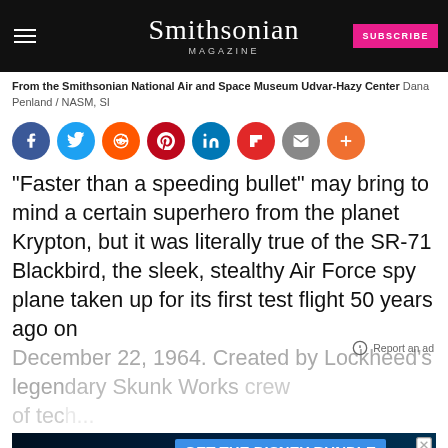Smithsonian MAGAZINE
From the Smithsonian National Air and Space Museum Udvar-Hazy Center Dana Penland / NASM, SI
[Figure (infographic): Social share buttons: Facebook (blue), Twitter (light blue), Reddit (orange-red), Pinterest (red), LinkedIn (teal), Flipboard (red), Email (gray), More (orange)]
“Faster than a speeding bullet” may bring to mind a certain superhero from the planet Krypton, but it was literally true of the SR-71 Blackbird, the sleek, stealthy Air Force spy plane taken up for its first test flight 50 years ago on December 22, 1964. Created by Lockheed’s legendary Skunk Works crew of tech...